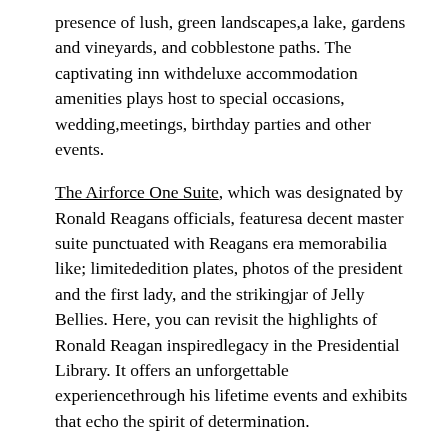presence of lush, green landscapes,a lake, gardens and vineyards, and cobblestone paths. The captivating inn withdeluxe accommodation amenities plays host to special occasions, wedding,meetings, birthday parties and other events.
The Airforce One Suite, which was designated by Ronald Reagans officials, featuresa decent master suite punctuated with Reagans era memorabilia like; limitededition plates, photos of the president and the first lady, and the strikingjar of Jelly Bellies. Here, you can revisit the highlights of Ronald Reagan inspiredlegacy in the Presidential Library. It offers an unforgettable experiencethrough his lifetime events and exhibits that echo the spirit of determination.
The packagefurther includes; provision of lemonade